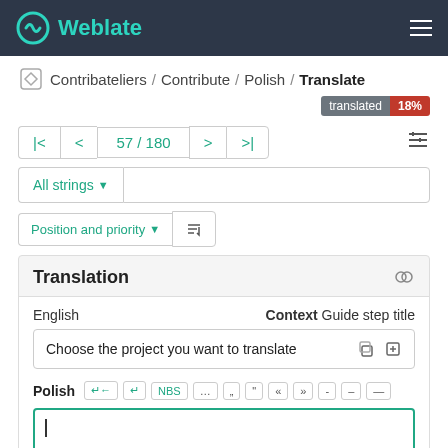Weblate
Contribateliers / Contribute / Polish / Translate
translated 18%
57 / 180
All strings
Position and priority
Translation
English   Context Guide step title
Choose the project you want to translate
Polish